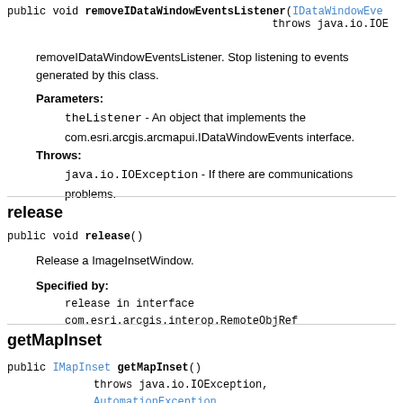public void removeIDataWindowEventsListener(IDataWindowEve... throws java.io.IOE...
removeIDataWindowEventsListener. Stop listening to events generated by this class.
Parameters: theListener - An object that implements the com.esri.arcgis.arcmapui.IDataWindowEvents interface.
Throws: java.io.IOException - If there are communications problems.
release
public void release()
Release a ImageInsetWindow.
Specified by: release in interface com.esri.arcgis.interop.RemoteObjRef
getMapInset
public IMapInset getMapInset() throws java.io.IOException, AutomationException